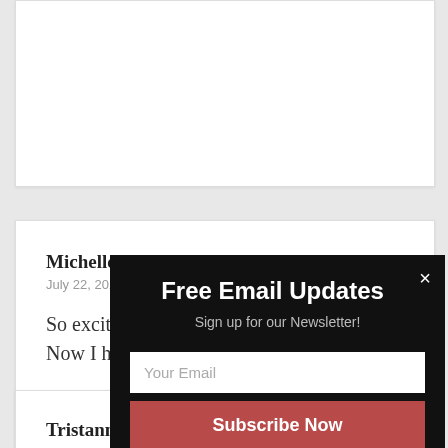(partial top comment card)
Michelle says:
July 22, 2016 at 11:36 am

So excited to make these Keto ice creams! Now I have another reason to get maker 🙂
Tristann says:
[Figure (screenshot): Newsletter signup popup overlay with dark background. Title: 'Free Email Updates', subtitle: 'Sign up for our Newsletter!', email input field with placeholder 'Your Email', and a 'Subscribe Now' button in red/mauve color. Close button (×) in top right corner.]